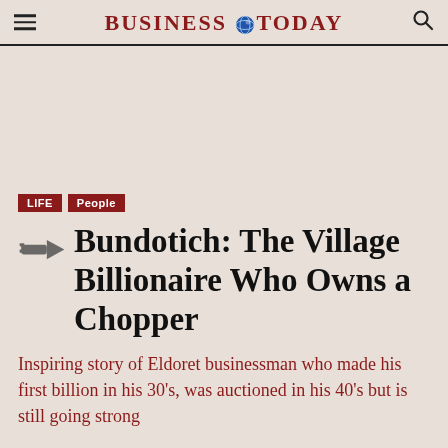BUSINESS TODAY
Bundotich: The Village Billionaire Who Owns a Chopper
Inspiring story of Eldoret businessman who made his first billion in his 30's, was auctioned in his 40's but is still going strong